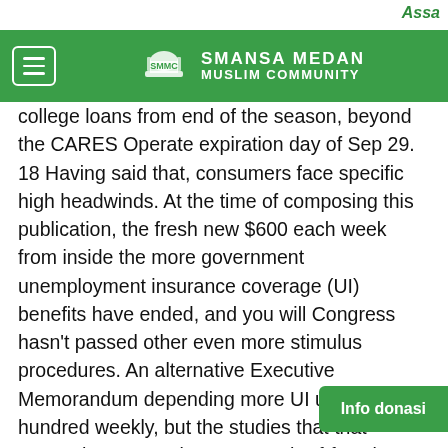Assa
SMANSA MEDAN MUSLIM COMMUNITY
college loans from end of the season, beyond the CARES Operate expiration day of Sep 29. 18 Having said that, consumers face specific high headwinds. At the time of composing this publication, the fresh new $600 each week from inside the more government unemployment insurance coverage (UI) benefits have ended, and you will Congress hasn't passed other even more stimulus procedures. An alternative Executive Memorandum depending more UI up to $eight hundred weekly, but the studies that that money have a tendency to reach-of-functions somebody stays uncertain. 19 For individuals exactly who in the past obtained UI and you may economic impression decrease within the disposable money makes it